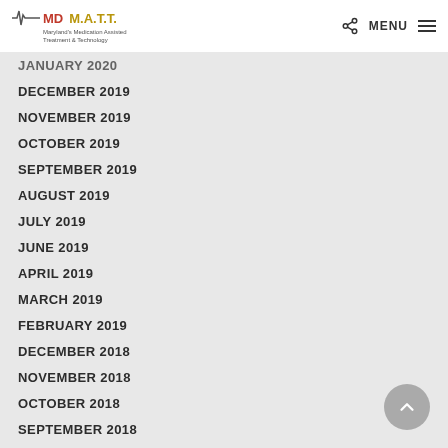MD M.A.T.T. Maryland's Medication Assisted Treatment & Technology — MENU
JANUARY 2020
DECEMBER 2019
NOVEMBER 2019
OCTOBER 2019
SEPTEMBER 2019
AUGUST 2019
JULY 2019
JUNE 2019
APRIL 2019
MARCH 2019
FEBRUARY 2019
DECEMBER 2018
NOVEMBER 2018
OCTOBER 2018
SEPTEMBER 2018
AUGUST 2018